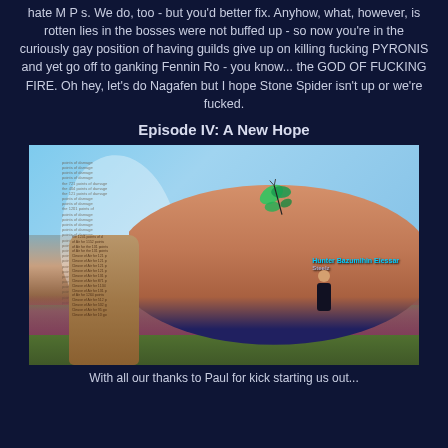hate M P s. We do, too - but you'd better fix. Anyhow, what, however, is rotten lies in the bosses were not buffed up - so now you're in the curiously gay position of having guilds give up on killing fucking PYRONIS and yet go off to ganking Fennin Ro - you know... the GOD OF FUCKING FIRE. Oh hey, let's do Nagafen but I hope Stone Spider isn't up or we're fucked.
Episode IV: A New Hope
[Figure (screenshot): A screenshot from a fantasy video game (EverQuest or similar) showing a large humanoid character with minimal armor and a butterfly-like creature in the background. Game UI text shows 'Hunter Bazumihin Elessar' in blue. A ghost-like translucent shape with overlaid text is visible on the left, along with a stone tablet. A small player character is visible to the right.]
With all our thanks to Paul for kick starting us out...